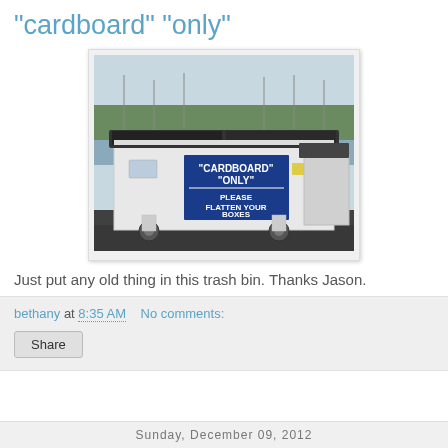"cardboard" "only"
[Figure (photo): A large white dumpster/recycling bin on wheels with a blue sign reading 'CARDBOARD ONLY - PLEASE FLATTEN YOUR BOXES', parked near a marina with boats and trees in the background.]
Just put any old thing in this trash bin. Thanks Jason.
bethany at 8:35 AM    No comments:
Share
Sunday,  December  09,  2012